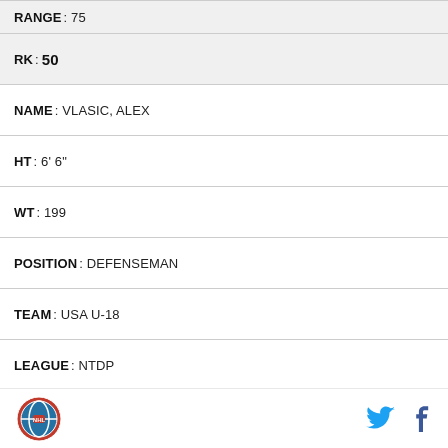| RANGE | 75 (partial, top cut off) |
| RK | 50 |
| NAME | VLASIC, ALEX |
| HT | 6' 6" |
| WT | 199 |
| POSITION | DEFENSEMAN |
| TEAM | USA U-18 |
| LEAGUE | NTDP |
| AVG | 56.40 |
| RANGE | 97 |
| RK | 51 |
| NAME | KORCZAK, KAEDAN (partial) |